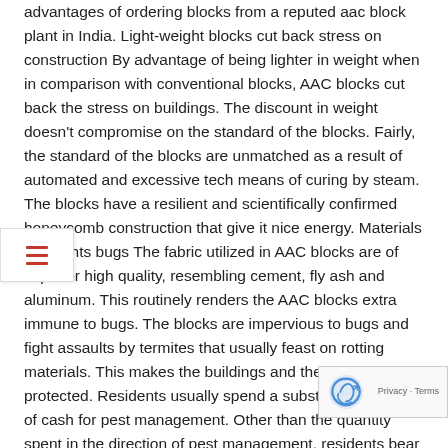advantages of ordering blocks from a reputed aac block plant in India. Light-weight blocks cut back stress on construction By advantage of being lighter in weight when in comparison with conventional blocks, AAC blocks cut back the stress on buildings. The discount in weight doesn't compromise on the standard of the blocks. Fairly, the standard of the blocks are unmatched as a result of automated and excessive tech means of curing by steam. The blocks have a resilient and scientifically confirmed honeycomb construction that give it nice energy. Materials that fights bugs The fabric utilized in AAC blocks are of superior high quality, resembling cement, fly ash and aluminum. This routinely renders the AAC blocks extra immune to bugs. The blocks are impervious to bugs and fight assaults by termites that usually feast on rotting materials. This makes the buildings and the areas protected. Residents usually spend a substantial amount of cash for pest management. Other than the quantity spent in the direction of pest management, residents bear a harrowing time when houses are infested w... AAC blocks retains these worries away by advantage of inb... resistance. Discount in development prices The prices of